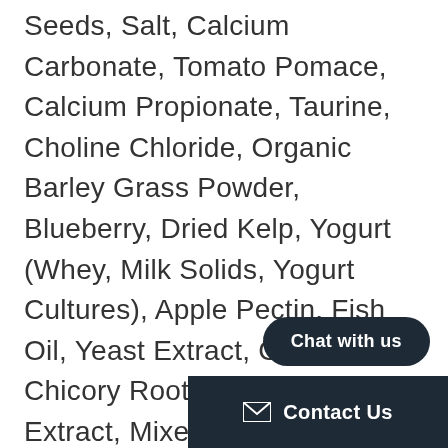Seeds, Salt, Calcium Carbonate, Tomato Pomace, Calcium Propionate, Taurine, Choline Chloride, Organic Barley Grass Powder, Blueberry, Dried Kelp, Yogurt (Whey, Milk Solids, Yogurt Cultures), Apple Pectin, Fish Oil, Yeast Extract, Citric Acid, Chicory Root, Hemicellulose Extract, Mixed Tocopherols, Rosemary Extract, Yeast Culture, Carrots, Celery, Parsley, Lettuce, Watercress, Spinach, Minerals (Potassium Chloride, Zinc Proteinate, Zinc Sulfate, Ferrous Sulfate, Iron Proteinate, Copper Sulfate, Copper Proteinate, Manganese Sulfate, Manganese Proteinate, Sodium Selenite, Calcium Iodate), Vitamins (Ascorbic Acid [source of Vitamin C], Vitamin E Supplement, Niacin Supplement, Calcium...